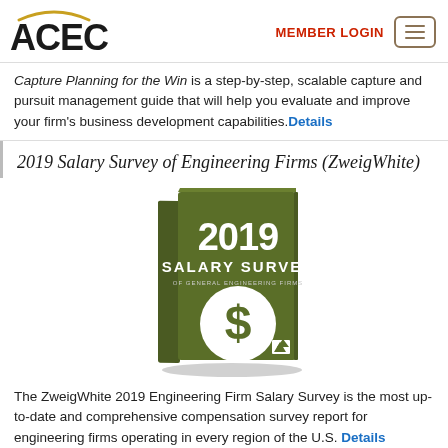ACEC | MEMBER LOGIN
Capture Planning for the Win is a step-by-step, scalable capture and pursuit management guide that will help you evaluate and improve your firm's business development capabilities. Details
2019 Salary Survey of Engineering Firms (ZweigWhite)
[Figure (photo): Book cover of the 2019 Salary Survey of Engineering Firms, olive green cover with large white dollar sign circle and ZweigWhite logo]
The ZweigWhite 2019 Engineering Firm Salary Survey is the most up-to-date and comprehensive compensation survey report for engineering firms operating in every region of the U.S. Details